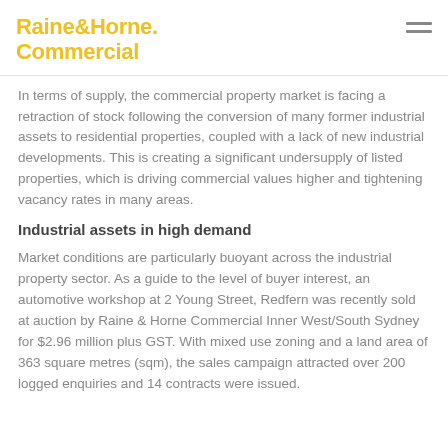Raine&Horne. Commercial
In terms of supply, the commercial property market is facing a retraction of stock following the conversion of many former industrial assets to residential properties, coupled with a lack of new industrial developments. This is creating a significant undersupply of listed properties, which is driving commercial values higher and tightening vacancy rates in many areas.
Industrial assets in high demand
Market conditions are particularly buoyant across the industrial property sector. As a guide to the level of buyer interest, an automotive workshop at 2 Young Street, Redfern was recently sold at auction by Raine & Horne Commercial Inner West/South Sydney for $2.96 million plus GST. With mixed use zoning and a land area of 363 square metres (sqm), the sales campaign attracted over 200 logged enquiries and 14 contracts were issued.